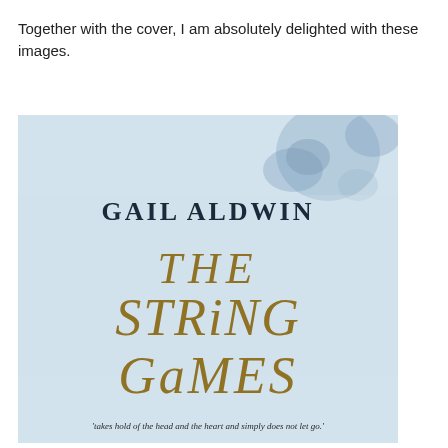Together with the cover, I am absolutely delighted with these images.
[Figure (illustration): Book cover of 'The String Games' by Gail Aldwin. Light blue watercolour background with ink blot shapes in upper right. Author name 'GAIL ALDWIN' in dark serif capitals near top centre. Title 'THE STRING GAMES' rendered in large twine/rope-style lettering in the centre. A quote at the bottom reads: 'takes hold of the head and the heart and simply does not let go.']